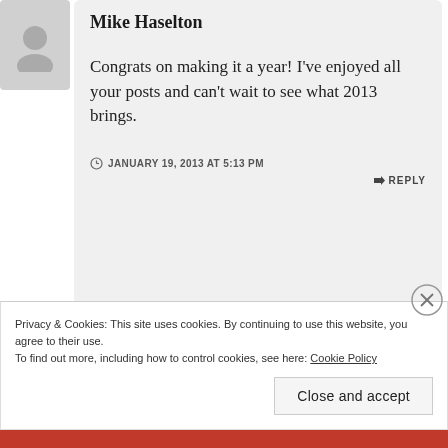Mike Haselton
Congrats on making it a year! I've enjoyed all your posts and can't wait to see what 2013 brings.
JANUARY 19, 2013 AT 5:13 PM
↳ REPLY
Privacy & Cookies: This site uses cookies. By continuing to use this website, you agree to their use.
To find out more, including how to control cookies, see here: Cookie Policy
Close and accept